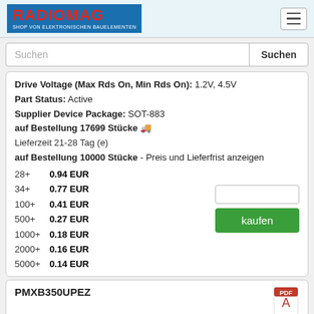[Figure (logo): RadioMag logo - shop von elektronischen Bauelementen]
Suchen
Drive Voltage (Max Rds On, Min Rds On): 1.2V, 4.5V
Part Status: Active
Supplier Device Package: SOT-883
auf Bestellung 17699 Stücke 🚚
Lieferzeit 21-28 Tag (e)
auf Bestellung 10000 Stücke - Preis und Lieferfrist anzeigen
28+ 0.94 EUR
34+ 0.77 EUR
100+ 0.41 EUR
500+ 0.27 EUR
1000+ 0.18 EUR
2000+ 0.16 EUR
5000+ 0.14 EUR
PMXB350UPEZ
Hersteller: Nexperia USA Inc.
Description: MOSFET P-CH 20V 1.2A DFN1010D-3
Drain to Source Voltage (Vdss): 20 V
Vgs (Max): +8V